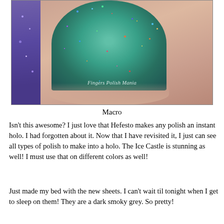[Figure (photo): Close-up macro photograph of a fingernail painted with a teal/green holographic glitter nail polish (Hefesto), showing multicolored sparkles and glitter. A purple-glitter nail is partially visible on the left. Watermark reads 'Fingers Polish Mania'.]
Macro
Isn't this awesome?  I just love that Hefesto makes any polish an instant holo.  I had forgotten about it.  Now that I have revisited it, I just can see all types of polish to make into a holo.  The Ice Castle is stunning as well!  I must use that on different colors as well!
Just made my bed with the new sheets. I can't wait til tonight when I get to sleep on them!  They are a dark smoky grey.  So pretty!